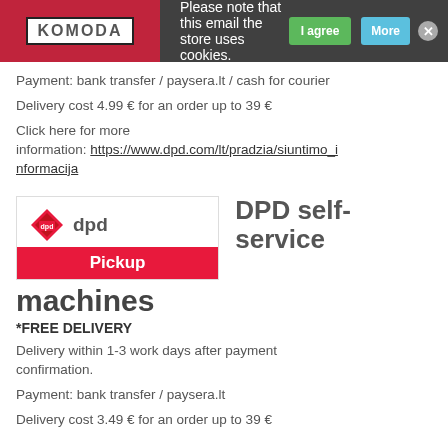Please note that this email the store uses cookies.
Payment: bank transfer / paysera.lt / cash for courier
Delivery cost 4.99 € for an order up to 39 €
Click here for more information: https://www.dpd.com/lt/pradzia/siuntimo_informacija
[Figure (logo): DPD self-service Pickup machines logo with red diamond icon and Pickup label]
*FREE DELIVERY
Delivery within 1-3 work days after payment confirmation.
Payment: bank transfer / paysera.lt
Delivery cost 3.49 € for an order up to 39 €